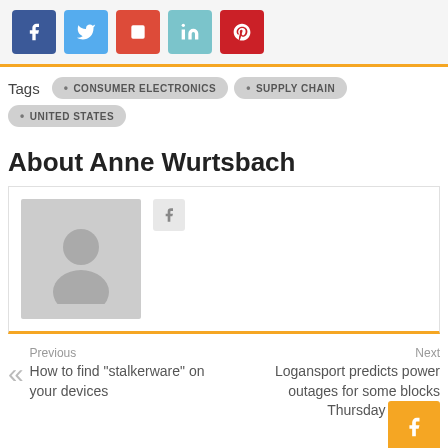[Figure (other): Social share buttons: Facebook (blue), Twitter (light blue), Google+ (red/orange), LinkedIn (teal), Pinterest (red)]
Tags • CONSUMER ELECTRONICS • SUPPLY CHAIN • UNITED STATES
About Anne Wurtsbach
[Figure (photo): Default avatar placeholder image (grey silhouette of a person) with a small social icon button]
Previous
How to find "stalkerware" on your devices
Next
Logansport predicts power outages for some blocks Thursday morning